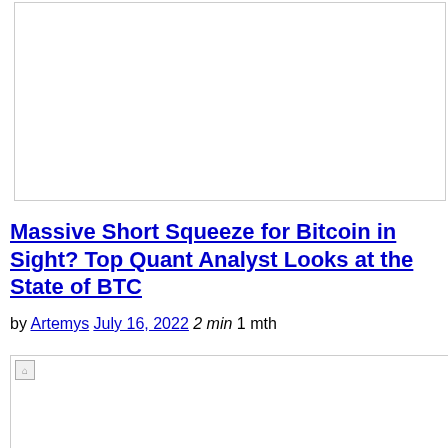[Figure (other): Top image placeholder, white box with border]
Massive Short Squeeze for Bitcoin in Sight? Top Quant Analyst Looks at the State of BTC
by Artemys July 16, 2022 2 min 1 mth
[Figure (other): Broken/loading image at bottom of page]